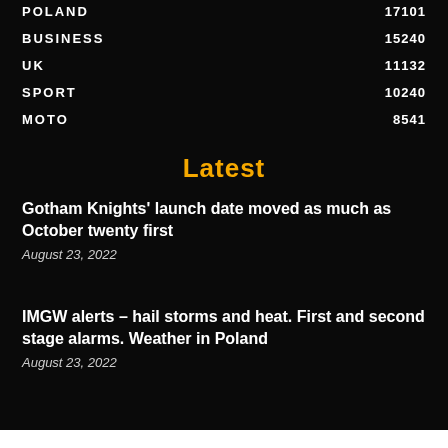POLAND  17101
BUSINESS  15240
UK  11132
SPORT  10240
MOTO  8541
Latest
Gotham Knights' launch date moved as much as October twenty first
August 23, 2022
IMGW alerts – hail storms and heat. First and second stage alarms. Weather in Poland
August 23, 2022